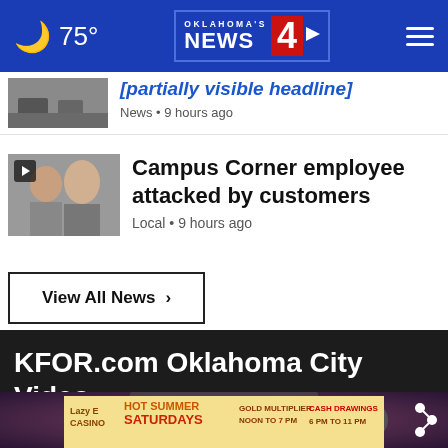75° — Oklahoma's News 4
[Figure (screenshot): Partial news article thumbnail image showing a street scene]
News • 9 hours ago
[Figure (screenshot): Video thumbnail showing two people]
Campus Corner employee attacked by customers
Local • 9 hours ago
View All News ›
KFOR.com Oklahoma City Video
[Figure (screenshot): Video player with blurred background showing a person]
[Figure (screenshot): Advertisement banner: Lazy E Casino Hot Summer Saturdays Cash Drawings]